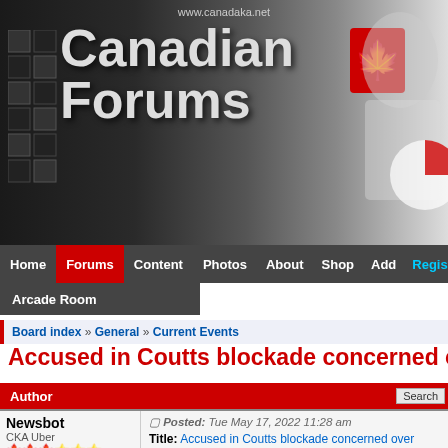[Figure (screenshot): Canadian Forums website banner with logo text 'Canadian Forums', hockey player image, maple leaf icon, and URL www.canadaka.net]
www.canadaka.net
Home | Forums | Content | Photos | About | Shop | Add | Register | Arcade Room
Board index » General » Current Events
Accused in Coutts blockade concerned o
Author | Search
Newsbot
CKA Uber
☆☆☆
Posted: Tue May 17, 2022 11:28 am
Title: Accused in Coutts blockade concerned over 'bias'
Category: Law & Order
Posted By: DrCaleb
Date: 2022-05-17 07:38:11
Canadian